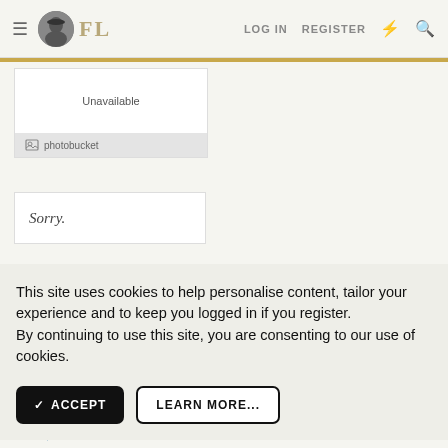FL | LOG IN  REGISTER
[Figure (screenshot): Photobucket unavailable image placeholder with grey footer showing photobucket logo]
Sorry.
This site uses cookies to help personalise content, tailor your experience and to keep you logged in if you register.
By continuing to use this site, you are consenting to our use of cookies.
ACCEPT  LEARN MORE...
Jun 1, 2018  #2